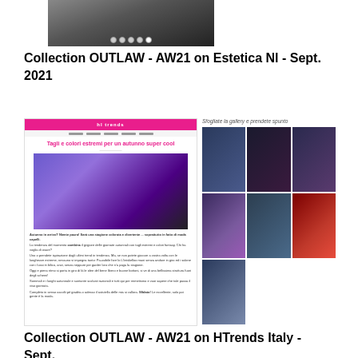[Figure (screenshot): Partial screenshot of a webpage showing a portrait photo with navigation dots below]
Collection OUTLAW - AW21 on Estetica Nl - Sept. 2021
[Figure (screenshot): Screenshot of two webpage panels: left panel shows Italian text 'Tagli e colori estremi per un autunno super cool' with a fashion photo of two models with edgy hairstyles; right panel shows a gallery grid 'Sfogliate la gallery e prendete spunto' with 7 fashion photos]
Collection OUTLAW - AW21 on HTrends Italy - Sept.